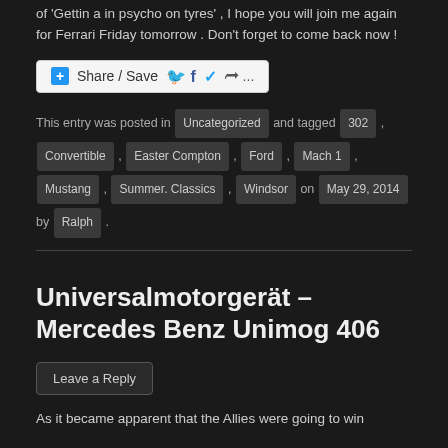of 'Gettin a in psycho on tyres', I hope you will join me again for Ferrari Friday tomorrow . Don't forget to come back now !
[Figure (other): Share / Save social sharing button bar with Facebook, Twitter, and more icons]
This entry was posted in Uncategorized and tagged 302 , Convertible , Easter Compton , Ford , Mach 1 , Mustang , Summer. Classics , Windsor on May 29, 2014 by Ralph .
Universalmotorgerät – Mercedes Benz Unimog 406
Leave a Reply
As it became apparent that the Allies were going to win